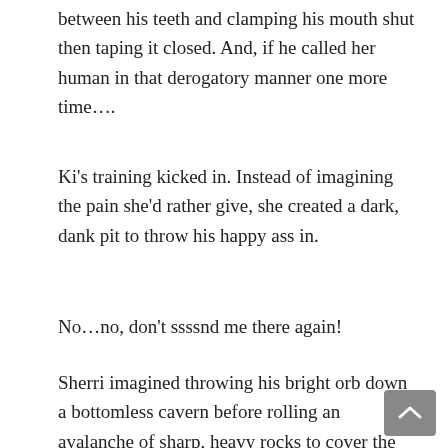between his teeth and clamping his mouth shut then taping it closed. And, if he called her human in that derogatory manner one more time….
Ki's training kicked in. Instead of imagining the pain she'd rather give, she created a dark, dank pit to throw his happy ass in.
No…no, don't ssssnd me there again!
Sherri imagined throwing his bright orb down a bottomless cavern before rolling an avalanche of sharp, heavy rocks to cover the hole. Dust billowed up and down before it settled in a thick layer to create a mountain to contain him. Then she pictured the mountain folding upon itself, repeatedly, until it was a speck of light flashing out of her thoughts.